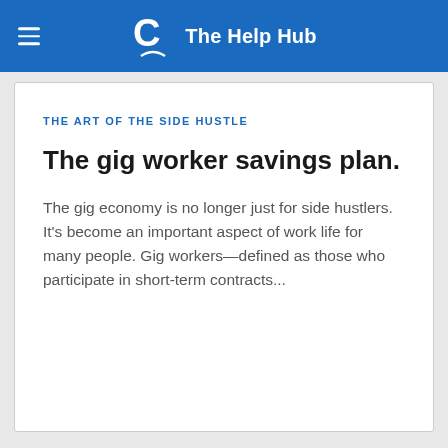The Help Hub
THE ART OF THE SIDE HUSTLE
The gig worker savings plan.
The gig economy is no longer just for side hustlers. It’s become an important aspect of work life for many people. Gig workers—defined as those who participate in short-term contracts...